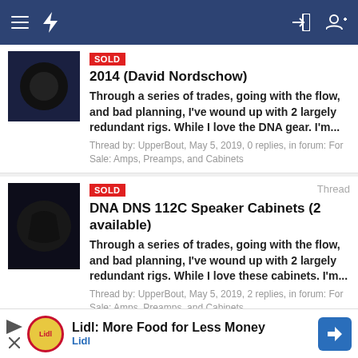Navigation bar with menu, bolt icon, login and add-user icons
2014 (David Nordschow)
Through a series of trades, going with the flow, and bad planning, I've wound up with 2 largely redundant rigs. While I love the DNA gear. I'm...
Thread by: UpperBout, May 5, 2019, 0 replies, in forum: For Sale: Amps, Preamps, and Cabinets
SOLD DNA DNS 112C Speaker Cabinets (2 available)
Through a series of trades, going with the flow, and bad planning, I've wound up with 2 largely redundant rigs. While I love these cabinets. I'm...
Thread by: UpperBout, May 5, 2019, 2 replies, in forum: For Sale: Amps, Preamps, and Cabinets
SOLD LDS 112 – copy of DNA 112 micro – 4 or 8 ohm speaker
Lidl: More Food for Less Money
Lidl